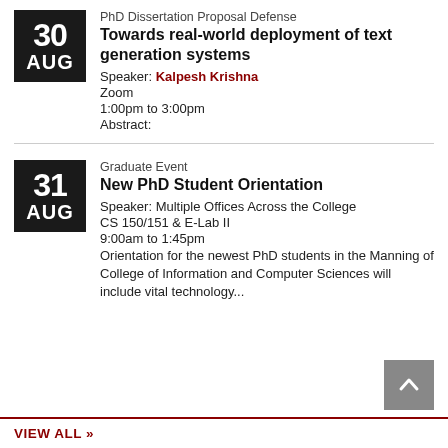PhD Dissertation Proposal Defense
Towards real-world deployment of text generation systems
Speaker: Kalpesh Krishna
Zoom
1:00pm to 3:00pm
Abstract:
Graduate Event
New PhD Student Orientation
Speaker: Multiple Offices Across the College
CS 150/151 & E-Lab II
9:00am to 1:45pm
Orientation for the newest PhD students in the Manning of College of Information and Computer Sciences will include vital technology...
VIEW ALL »